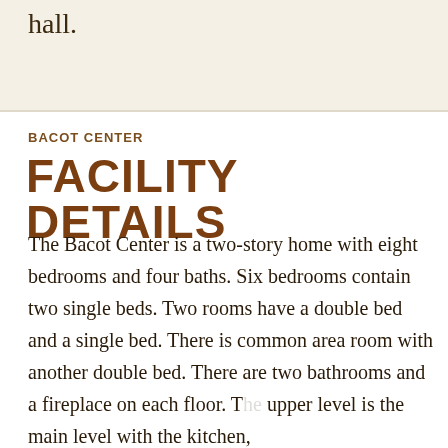hall.
BACOT CENTER
FACILITY DETAILS
The Bacot Center is a two-story home with eight bedrooms and four baths. Six bedrooms contain two single beds. Two rooms have a double bed and a single bed. There is common area room with another double bed. There are two bathrooms and a fireplace on each floor. The upper level is the main level with the kitchen,